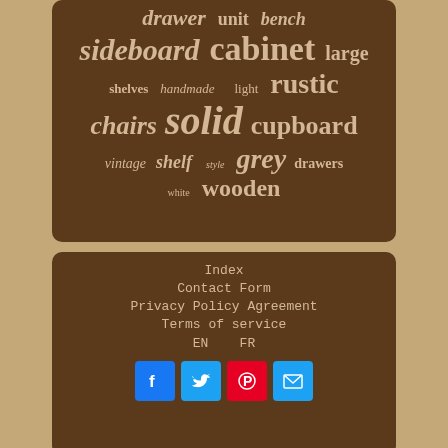[Figure (infographic): Word cloud on dark brown background with furniture-related keywords of varying sizes: drawer, unit, bench (top), sideboard, cabinet, large, shelves, handmade, light, rustic, chairs, solid, cupboard, vintage, shelf, style, grey, drawers, white, wooden]
Index
Contact Form
Privacy Policy Agreement
Terms of service
EN   FR
[Figure (infographic): Social media buttons: Facebook (blue), Twitter (blue), Pinterest (red), Email (blue)]